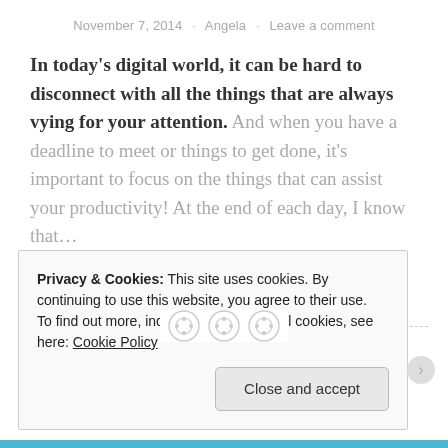November 7, 2014 · Angela · Leave a comment
In today's digital world, it can be hard to disconnect with all the things that are always vying for your attention. And when you have a deadline to meet or things to get done, it's important to focus on the things that can assist your productivity! At the end of each day, I know that…
Continue reading
[Figure (illustration): Horizontal dashed divider line with three decorative button/circle icons centered on it]
Privacy & Cookies: This site uses cookies. By continuing to use this website, you agree to their use. To find out more, including how to control cookies, see here: Cookie Policy
Close and accept